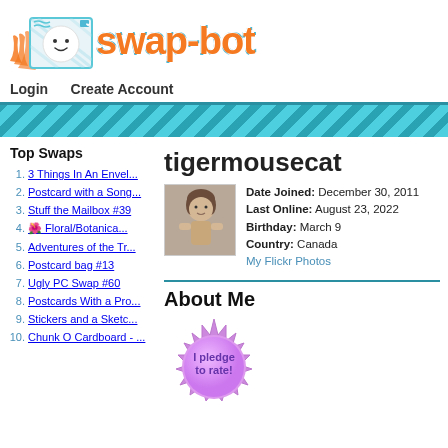[Figure (logo): Swap-bot logo with envelope mascot and orange text 'swap-bot' with teal outline]
Login   Create Account
[Figure (infographic): Teal diagonal stripe banner]
tigermousecat
[Figure (photo): Profile photo of a doll/stuffed animal figure]
Date Joined: December 30, 2011
Last Online: August 23, 2022
Birthday: March 9
Country: Canada
My Flickr Photos
Top Swaps
3 Things In An Envel...
Postcard with a Song...
Stuff the Mailbox #39
🌺 Floral/Botanica...
Adventures of the Tr...
Postcard bag #13
Ugly PC Swap #60
Postcards With a Pro...
Stickers and a Sketc...
Chunk O Cardboard - ...
About Me
[Figure (illustration): Purple starburst badge with text 'I pledge to rate!']